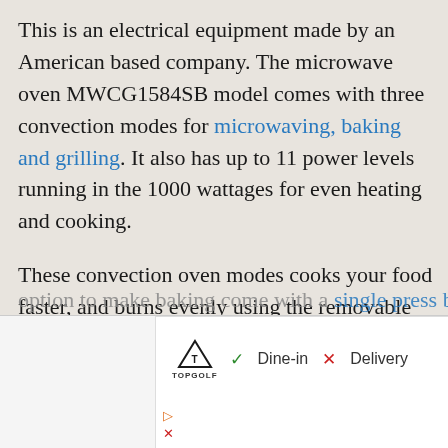This is an electrical equipment made by an American based company. The microwave oven MWCG1584SB model comes with three convection modes for microwaving, baking and grilling. It also has up to 11 power levels running in the 1000 wattages for even heating and cooking.
These convection oven modes cooks your food faster, and burns evenly using the removable turntable plate. For the baking function, this microwave oven comes with pre-programmed power level in the nine cooking option to make baking come with a single press button
[Figure (other): Advertisement overlay showing Topgolf logo with Dine-in (checkmark) and Delivery (X) options and a navigation arrow icon, with play and close icons in the bottom-left corner.]